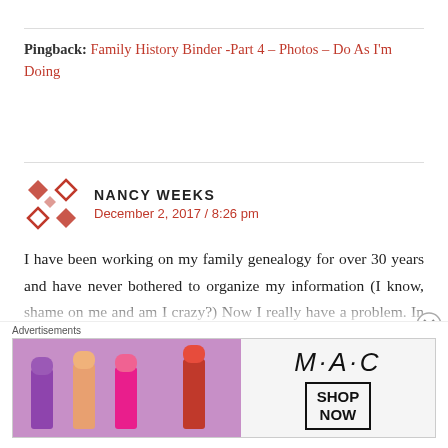Pingback: Family History Binder -Part 4 – Photos – Do As I'm Doing
[Figure (logo): Nancy Weeks avatar — decorative geometric/diamond pattern in dark red/maroon colors]
NANCY WEEKS
December 2, 2017 / 8:26 pm
I have been working on my family genealogy for over 30 years and have never bothered to organize my information (I know, shame on me and am I crazy?) Now I really have a problem. In the last couple of years I have included the ancestors of my expanded family in order to include the ancestors of each family for my great grandchildren. Do you have any suggestions for getting this mess organized? In
[Figure (advertisement): MAC cosmetics advertisement showing lipsticks with SHOP NOW text]